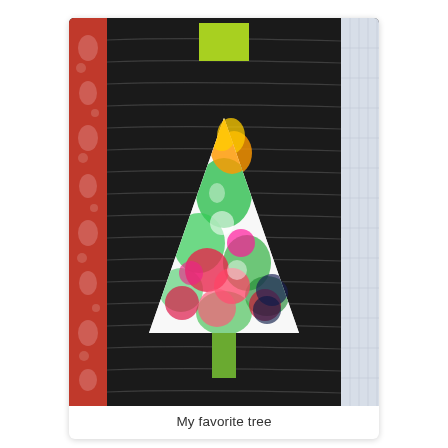[Figure (photo): A quilt artwork showing a stylized Christmas tree made from colorful floral fabric (white, red, green, orange, pink, navy flowers) in a triangular shape against a dark charcoal/black quilted background with horizontal stitch lines. The tree has a green rectangular trunk. On the left side is a vertical strip of red floral fabric, and on the right a pale blue/white fabric strip. At the top center is a small lime-green square accent.]
My favorite tree